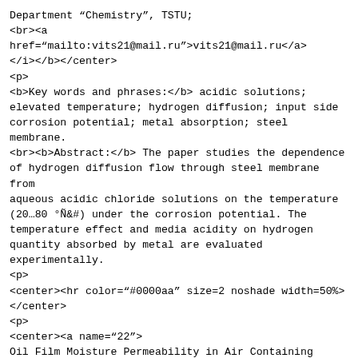Department "Chemistry", TSTU;
<br><a href="mailto:vits21@mail.ru">vits21@mail.ru</a>
</i></b></center>
<p>
<b>Key words and phrases:</b> acidic solutions;
elevated temperature; hydrogen diffusion; input side
corrosion potential; metal absorption; steel membrane.
<br><b>Abstract:</b> The paper studies the dependence
of hydrogen diffusion flow through steel membrane from
aqueous acidic chloride solutions on the temperature
(20…80 °Ñ) under the corrosion potential. The
temperature effect and media acidity on hydrogen
quantity absorbed by metal are evaluated
experimentally.
<p>
<center><hr color="#0000aa" size=2 noshade width=50%>
</center>
<p>
<center><a name="22">
Oil Film Moisture Permeability in Air Containing Sulfur
Dioxide
<br><i>
N.V. Shel1, O.G. Chetyrina2
<br>
Department "Chemistry", TSTU (1);
<br>Department "Analytical and Non-Organic Chemistry",
<br>TSU named after G.R. Derzhavin (2); <a
href="mailto:vits21@mail.ru">vits21@mail.ru</a>
</i></b></center>
<p>